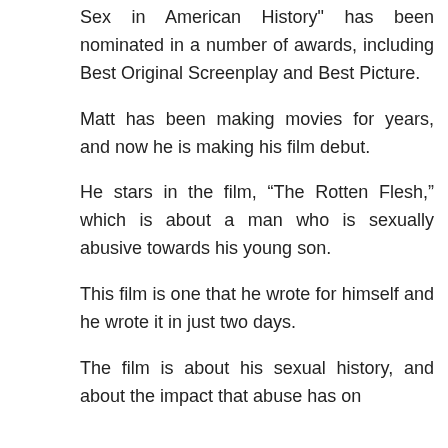Sex in American History" has been nominated in a number of awards, including Best Original Screenplay and Best Picture.
Matt has been making movies for years, and now he is making his film debut.
He stars in the film, “The Rotten Flesh,” which is about a man who is sexually abusive towards his young son.
This film is one that he wrote for himself and he wrote it in just two days.
The film is about his sexual history, and about the impact that abuse has on